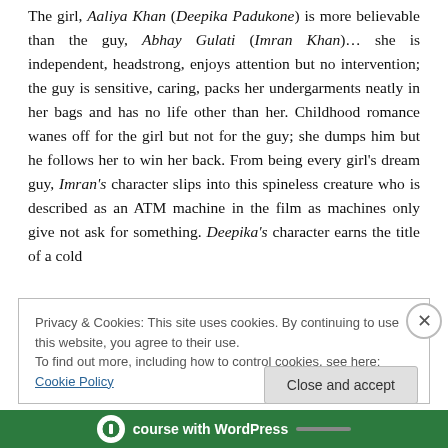The girl, Aaliya Khan (Deepika Padukone) is more believable than the guy, Abhay Gulati (Imran Khan)… she is independent, headstrong, enjoys attention but no intervention; the guy is sensitive, caring, packs her undergarments neatly in her bags and has no life other than her. Childhood romance wanes off for the girl but not for the guy; she dumps him but he follows her to win her back. From being every girl's dream guy, Imran's character slips into this spineless creature who is described as an ATM machine in the film as machines only give not ask for something. Deepika's character earns the title of a cold
Privacy & Cookies: This site uses cookies. By continuing to use this website, you agree to their use.
To find out more, including how to control cookies, see here: Cookie Policy
Close and accept
[Figure (screenshot): Bottom bar showing WordPress branding with green background, a white circular icon, text 'course with WordPress' in white, and a grey line element.]